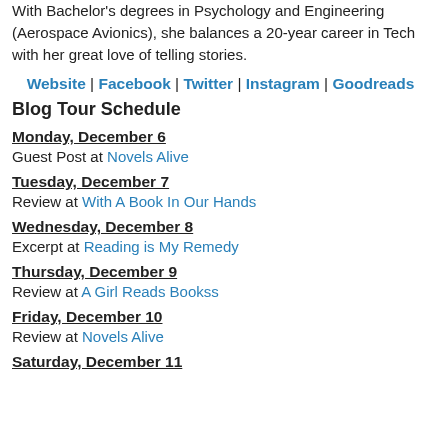With Bachelor's degrees in Psychology and Engineering (Aerospace Avionics), she balances a 20-year career in Tech with her great love of telling stories.
Website | Facebook | Twitter | Instagram | Goodreads
Blog Tour Schedule
Monday, December 6
Guest Post at Novels Alive
Tuesday, December 7
Review at With A Book In Our Hands
Wednesday, December 8
Excerpt at Reading is My Remedy
Thursday, December 9
Review at A Girl Reads Bookss
Friday, December 10
Review at Novels Alive
Saturday, December 11